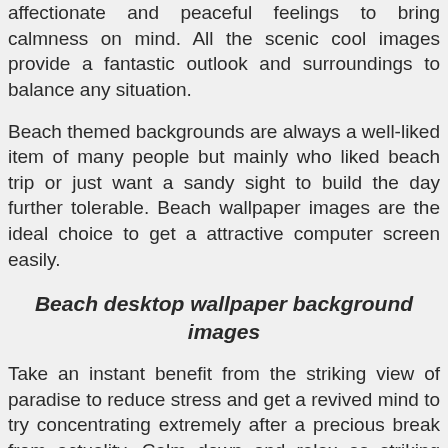affectionate and peaceful feelings to bring calmness on mind. All the scenic cool images provide a fantastic outlook and surroundings to balance any situation.
Beach themed backgrounds are always a well-liked item of many people but mainly who liked beach trip or just want a sandy sight to build the day further tolerable. Beach wallpaper images are the ideal choice to get a attractive computer screen easily.
Beach desktop wallpaper background images
Take an instant benefit from the striking view of paradise to reduce stress and get a revived mind to try concentrating extremely after a precious break from actuality. Calm down and relax as striking waves break onto the coast and turn across. Feel the sands, ocean, seagull's sound, gorgeous seashells and palm trees in the breeze. Beach wallpaper images allow problems to flow away. Get the desired wallpaper from below